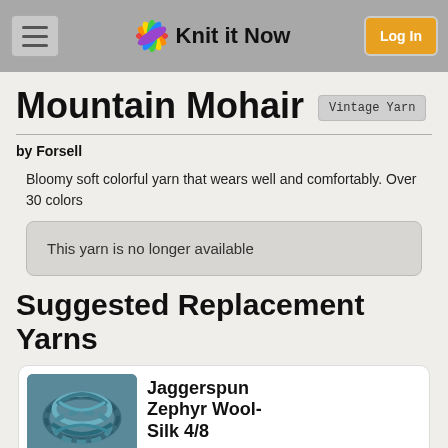Knit it Now — Log In
Mountain Mohair
Vintage Yarn
by Forsell
Bloomy soft colorful yarn that wears well and comfortably. Over 30 colors
This yarn is no longer available
Suggested Replacement Yarns
Jaggerspun Zephyr Wool-Silk 4/8
[Figure (photo): Skein of blue-green yarn, Jaggerspun Zephyr Wool-Silk 4/8]